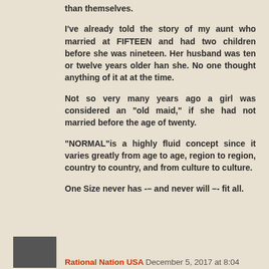than themselves.
I've already told the story of my aunt who married at FIFTEEN and had two children before she was nineteen. Her husband was ten or twelve years older han she. No one thought anything of it at at the time.
Not so very many years ago a girl was considered an "old maid," if she had not married before the age of twenty.
"NORMAL"is a highly fluid concept since it varies greatly from age to age, region to region, country to country, and from culture to culture.
One Size never has -– and never will –- fit all.
Rational Nation USA  December 5, 2017 at 8:04